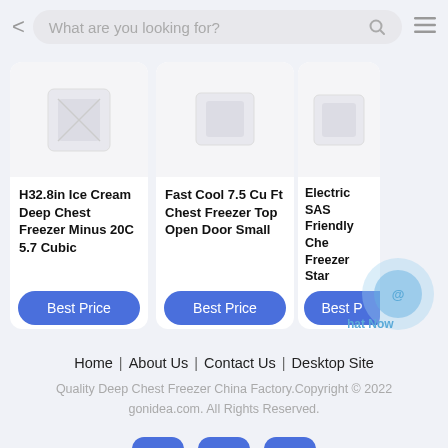[Figure (screenshot): Mobile website navigation bar with back arrow, search box saying 'What are you looking for?', search icon, and hamburger menu]
[Figure (photo): Product image placeholder for H32.8in Ice Cream Deep Chest Freezer]
H32.8in Ice Cream Deep Chest Freezer Minus 20C 5.7 Cubic
Best Price
[Figure (photo): Product image placeholder for Fast Cool 7.5 Cu Ft Chest Freezer]
Fast Cool 7.5 Cu Ft Chest Freezer Top Open Door Small
Best Price
[Figure (photo): Partial product image for Electric SAS Friendly Chest Freezer Star]
Electric SAS Friendly Che Freezer Star
Best P
Home | About Us | Contact Us | Desktop Site
Quality Deep Chest Freezer China Factory.Copyright © 2022 gonidea.com. All Rights Reserved.
[Figure (infographic): Social media icons: Facebook, Twitter, LinkedIn]